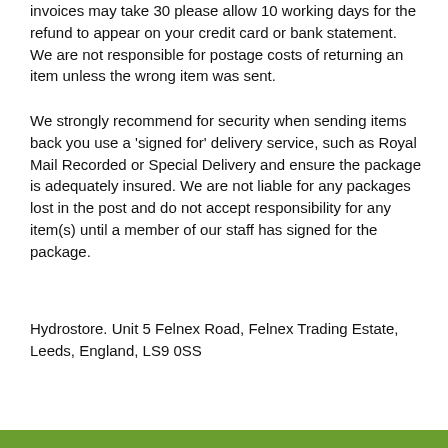invoices may take 30 please allow 10 working days for the refund to appear on your credit card or bank statement. We are not responsible for postage costs of returning an item unless the wrong item was sent.
We strongly recommend for security when sending items back you use a 'signed for' delivery service, such as Royal Mail Recorded or Special Delivery and ensure the package is adequately insured. We are not liable for any packages lost in the post and do not accept responsibility for any item(s) until a member of our staff has signed for the package.
Hydrostore. Unit 5 Felnex Road, Felnex Trading Estate, Leeds, England, LS9 0SS